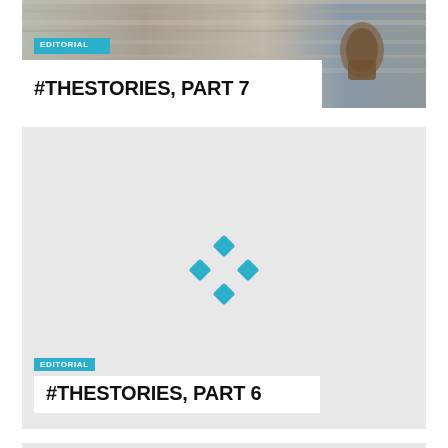[Figure (photo): Photo of a rusty padlock and chain on weathered wooden planks, used as article header image for editorial #THESTORIES, PART 7]
EDITORIAL
#THESTORIES, PART 7
[Figure (other): Loading spinner / placeholder graphic with four teal diamond shapes arranged in a cross pattern, card background is light grey, for editorial #THESTORIES, PART 6]
EDITORIAL
#THESTORIES, PART 6
[Figure (other): Partial view of a third article card at the bottom of the page, light grey background, content not visible]